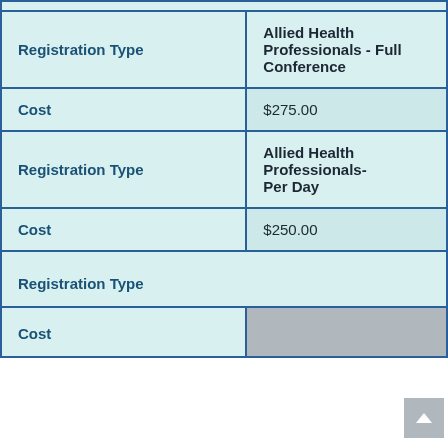| Registration Type | Allied Health Professionals - Full Conference |
| Cost | $275.00 |
| Registration Type | Allied Health Professionals- Per Day |
| Cost | $250.00 |
| Registration Type |  |
| Cost |  |